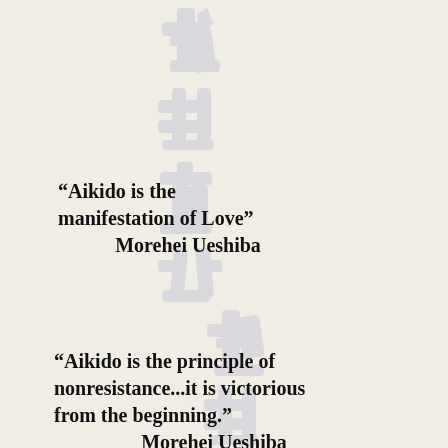[Figure (illustration): Faded gray Japanese/Chinese kanji calligraphy characters running vertically down the page as a background watermark image, appearing twice — once in the upper half and once in the lower half of the page.]
“Aikido is the manifestation of Love” Morehei Ueshiba
“Aikido is the principle of nonresistance...it is victorious from the beginning.” Morehei Ueshiba